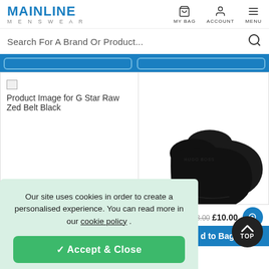[Figure (logo): Mainline Menswear logo — bold blue text 'MAINLINE' with 'MENSWEAR' in grey below]
[Figure (screenshot): Navigation icons: MY BAG (bag icon), ACCOUNT (person icon), MENU (hamburger icon)]
Search For A Brand Or Product...
[Figure (screenshot): Blue horizontal filter/sort bar with two bordered button outlines]
[Figure (photo): Broken image placeholder for G Star Raw Zed Belt Black product]
Product Image for G Star Raw Zed Belt Black
[Figure (photo): Photo of two black low-cut trainer socks on white background]
Trainer Socks Black
£13.00 £10.00
d to Bag
Our site uses cookies in order to create a personalised experience. You can read more in our cookie policy .
✓ Accept & Close